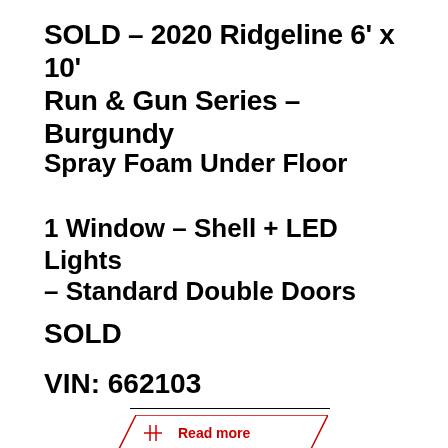SOLD – 2020 Ridgeline 6' x 10' Run & Gun Series – Burgundy
Spray Foam Under Floor
1 Window – Shell + LED Lights – Standard Double Doors
SOLD
VIN: 662103
Read more